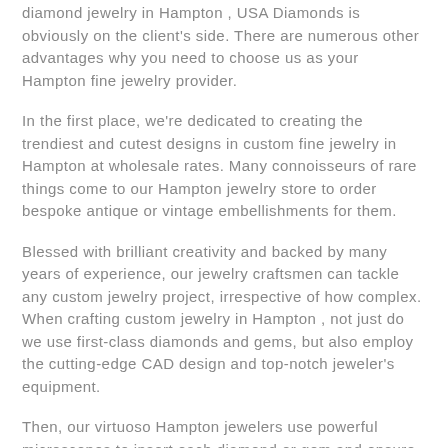diamond jewelry in Hampton , USA Diamonds is obviously on the client's side. There are numerous other advantages why you need to choose us as your Hampton fine jewelry provider.
In the first place, we're dedicated to creating the trendiest and cutest designs in custom fine jewelry in Hampton at wholesale rates. Many connoisseurs of rare things come to our Hampton jewelry store to order bespoke antique or vintage embellishments for them.
Blessed with brilliant creativity and backed by many years of experience, our jewelry craftsmen can tackle any custom jewelry project, irrespective of how complex. When crafting custom jewelry in Hampton , not just do we use first-class diamonds and gems, but also employ the cutting-edge CAD design and top-notch jeweler's equipment.
Then, our virtuoso Hampton jewelers use powerful microscopes to insert each diamond or gem and ensure it's held securely. Each custom-made jewelry unit undergoes four stages of quality control.